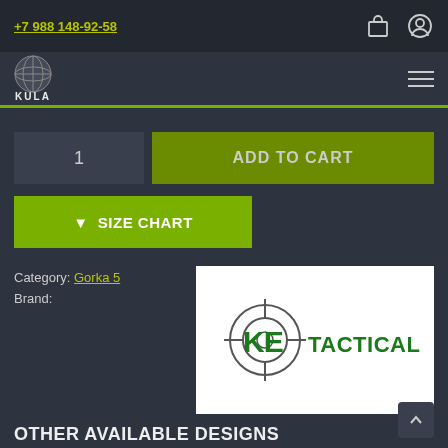+7 988 148-92-58
[Figure (logo): KULA brand logo with a globe icon and text KULA below]
1
ADD TO CART
↓ SIZE CHART
Category: Gorka 5
Brand:
[Figure (logo): KE Tactical brand logo with green letters on white background]
OTHER AVAILABLE DESIGNS